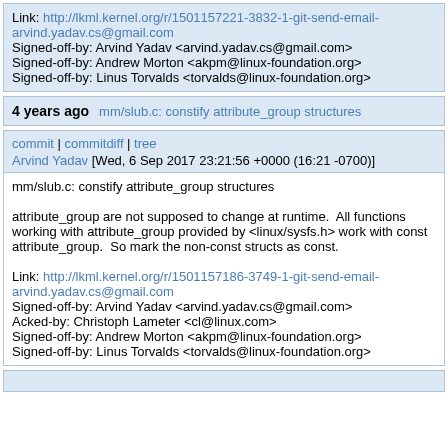Link: http://lkml.kernel.org/r/1501157221-3832-1-git-send-email-arvind.yadav.cs@gmail.com
Signed-off-by: Arvind Yadav <arvind.yadav.cs@gmail.com>
Signed-off-by: Andrew Morton <akpm@linux-foundation.org>
Signed-off-by: Linus Torvalds <torvalds@linux-foundation.org>
4 years ago   mm/slub.c: constify attribute_group structures
commit | commitdiff | tree
Arvind Yadav [Wed, 6 Sep 2017 23:21:56 +0000 (16:21 -0700)]
mm/slub.c: constify attribute_group structures

attribute_group are not supposed to change at runtime.  All functions working with attribute_group provided by <linux/sysfs.h> work with const attribute_group.  So mark the non-const structs as const.

Link: http://lkml.kernel.org/r/1501157186-3749-1-git-send-email-arvind.yadav.cs@gmail.com
Signed-off-by: Arvind Yadav <arvind.yadav.cs@gmail.com>
Acked-by: Christoph Lameter <cl@linux.com>
Signed-off-by: Andrew Morton <akpm@linux-foundation.org>
Signed-off-by: Linus Torvalds <torvalds@linux-foundation.org>